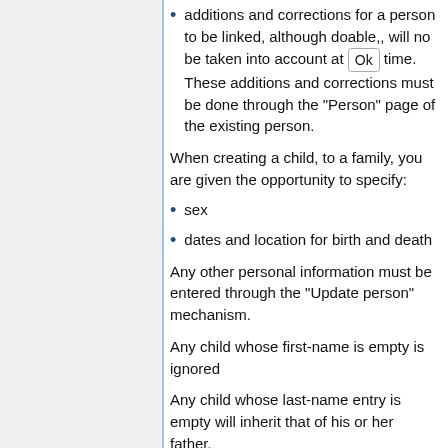additions and corrections for a person to be linked, although doable,, will no be taken into account at Ok time. These additions and corrections must be done through the "Person" page of the existing person.
When creating a child, to a family, you are given the opportunity to specify:
sex
dates and location for birth and death
Any other personal information must be entered through the "Update person" mechanism.
Any child whose first-name is empty is ignored
Any child whose last-name entry is empty will inherit that of his or her father.
Suppress a family